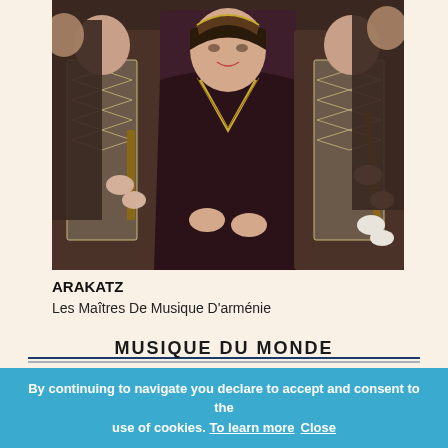[Figure (photo): Group photo of Armenian musicians in traditional embroidered costumes. A woman in a dark velvet robe with gold trim stands at center, surrounded by men in purple and silver patterned vests holding musical instruments.]
ARAKATZ
Les Maîtres De Musique D'arménie
[Figure (logo): Musique Du Monde / Music from the World label logo with horizontal decorative lines]
By continuing to navigate you declare to accept and consent to the use of cookies. To learn more   Close